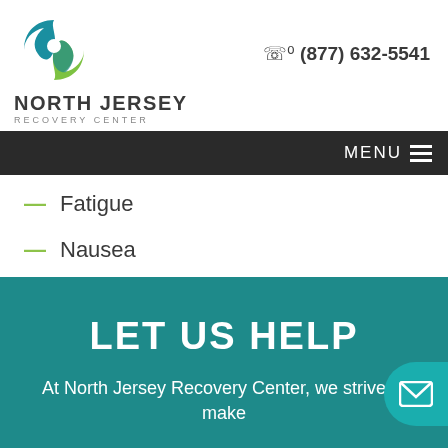[Figure (logo): North Jersey Recovery Center swirl logo in teal and green]
(877) 632-5541
NORTH JERSEY RECOVERY CENTER
MENU
Fatigue
Nausea
LET US HELP
At North Jersey Recovery Center, we strive to make
Have questions? Give us a call.
(877) 632-5541